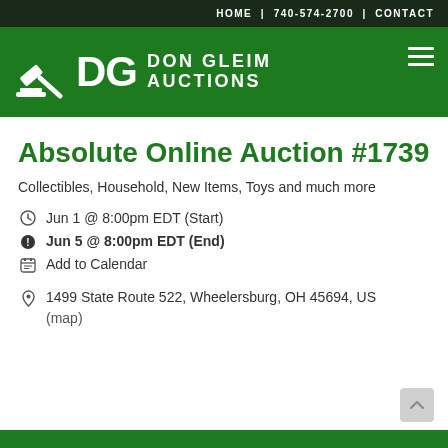HOME | 740-574-2700 | CONTACT
[Figure (logo): Don Gleim Auctions logo with gavel icon, white text on green background]
Absolute Online Auction #1739
Collectibles, Household, New Items, Toys and much more
Jun 1 @ 8:00pm EDT (Start)
Jun 5 @ 8:00pm EDT (End)
Add to Calendar
1499 State Route 522, Wheelersburg, OH 45694, US (map)